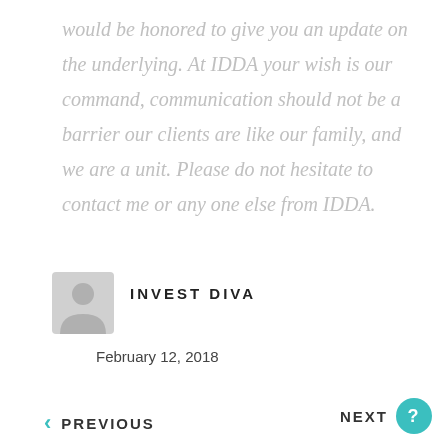would be honored to give you an update on the underlying. At IDDA your wish is our command, communication should not be a barrier our clients are like our family, and we are a unit. Please do not hesitate to contact me or any one else from IDDA.
[Figure (illustration): Gray placeholder avatar icon (user silhouette) for Invest Diva author]
INVEST DIVA
February 12, 2018
< PREVIOUS
NEXT >